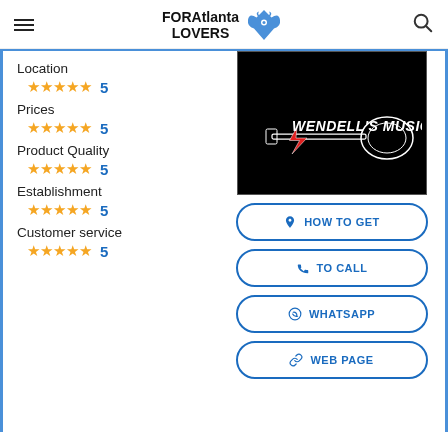FOR Atlanta LOVERS
Location ★★★★★ 5
Prices ★★★★★ 5
Product Quality ★★★★★ 5
Establishment ★★★★★ 5
Customer service ★★★★★ 5
[Figure (logo): Wendell's Music logo on black background with guitar and lightning bolt]
HOW TO GET
TO CALL
WHATSAPP
WEB PAGE